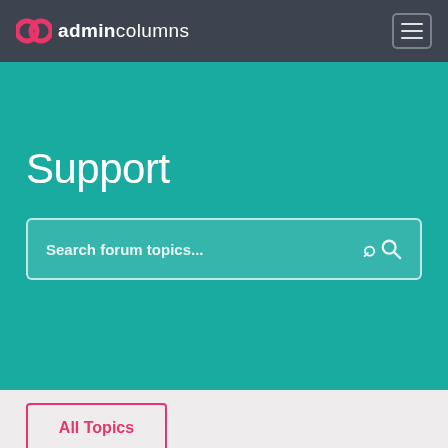ac admincolumns
Support
Search forum topics...
All Topics
PHILIPPE